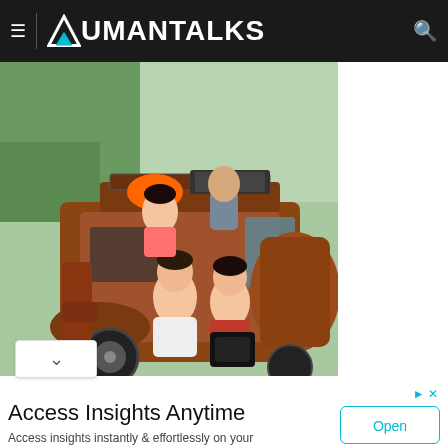AumanTalks
[Figure (photo): People sitting in and on top of a rusty old tricycle/jeepney vehicle on a road with green trees in background. A woman in orange stands on top, two young women sit inside the vehicle.]
Access Insights Anytime
Access insights instantly & effortlessly on your preferred messaging channels. Sense Forth
Open